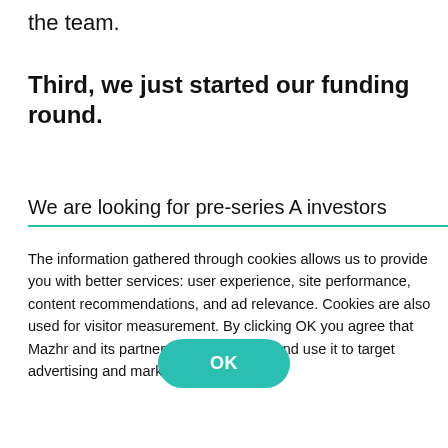the team.
Third, we just started our funding round.
We are looking for pre-series A investors
The information gathered through cookies allows us to provide you with better services: user experience, site performance, content recommendations, and ad relevance. Cookies are also used for visitor measurement. By clicking OK you agree that Mazhr and its partners collect cookies and use it to target advertising and marketing. Read more
OK